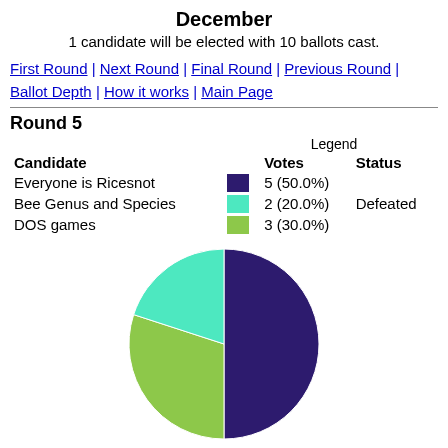December
1 candidate will be elected with 10 ballots cast.
First Round | Next Round | Final Round | Previous Round | Ballot Depth | How it works | Main Page
Round 5
Legend
| Candidate |  | Votes | Status |
| --- | --- | --- | --- |
| Everyone is Ricesnot | ■ | 5 (50.0%) |  |
| Bee Genus and Species | ■ | 2 (20.0%) | Defeated |
| DOS games | ■ | 3 (30.0%) |  |
[Figure (pie-chart): Round 5 votes]